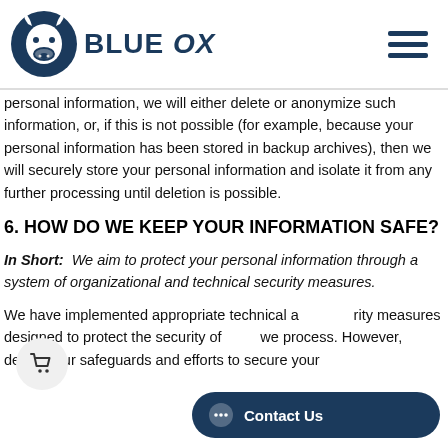BLUE OX
personal information, we will either delete or anonymize such information, or, if this is not possible (for example, because your personal information has been stored in backup archives), then we will securely store your personal information and isolate it from any further processing until deletion is possible.
6. HOW DO WE KEEP YOUR INFORMATION SAFE?
In Short: We aim to protect your personal information through a system of organizational and technical security measures.
We have implemented appropriate technical and security measures designed to protect the security of we process. However, despite our safeguards and efforts to secure your